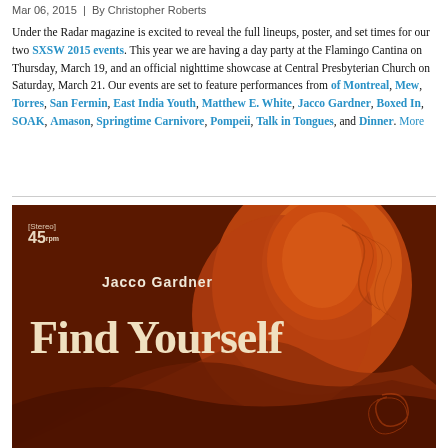Mar 06, 2015  |  By Christopher Roberts
Under the Radar magazine is excited to reveal the full lineups, poster, and set times for our two SXSW 2015 events. This year we are having a day party at the Flamingo Cantina on Thursday, March 19, and an official nighttime showcase at Central Presbyterian Church on Saturday, March 21. Our events are set to feature performances from of Montreal, Mew, Torres, San Fermin, East India Youth, Matthew E. White, Jacco Gardner, Boxed In, SOAK, Amason, Springtime Carnivore, Pompeii, Talk in Tongues, and Dinner. More
[Figure (illustration): Album cover art for Jacco Gardner 'Find Yourself' - dark brown background with orange psychedelic portrait illustration, '[Stereo] 45 rpm' text in top left, artist name 'Jacco Gardner' in white text, large title 'Find Yourself' in cream/white bold letters]